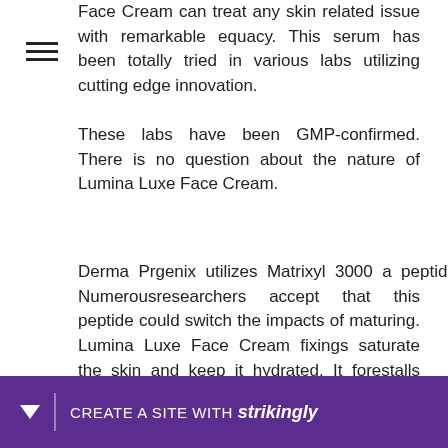Face Cream can treat any skin related issue with remarkable equacy. This serum has been totally tried in various labs utilizing cutting edge innovation. These labs have been GMP-confirmed. There is no question about the nature of Lumina Luxe Face Cream.
Derma Prgenix utilizes Matrixyl 3000 a peptide. Numerousresearchers accept that this peptide could switch the impacts of maturing. Lumina Luxe Face Cream fixings saturate the skin and keep it hydrated. It forestalls skin d…essens the ga…
[Figure (other): Purple banner at bottom with downward arrow icon, vertical divider, and text 'CREATE A SITE WITH strikingly' in white on purple background]